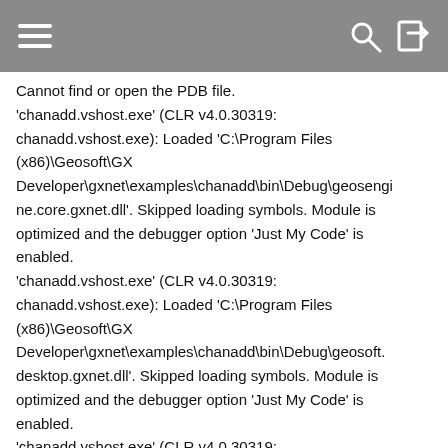[navigation bar with hamburger menu, search icon, and login icon]
Cannot find or open the PDB file.
'chanadd.vshost.exe' (CLR v4.0.30319: chanadd.vshost.exe): Loaded 'C:\Program Files (x86)\Geosoft\GX Developer\gxnet\examples\chanadd\bin\Debug\geoengine.core.gxnet.dll'. Skipped loading symbols. Module is optimized and the debugger option 'Just My Code' is enabled.
'chanadd.vshost.exe' (CLR v4.0.30319: chanadd.vshost.exe): Loaded 'C:\Program Files (x86)\Geosoft\GX Developer\gxnet\examples\chanadd\bin\Debug\geosoft.desktop.gxnet.dll'. Skipped loading symbols. Module is optimized and the debugger option 'Just My Code' is enabled.
'chanadd.vshost.exe' (CLR v4.0.30319: chanadd.vshost.exe): Loaded 'C:\Program Files